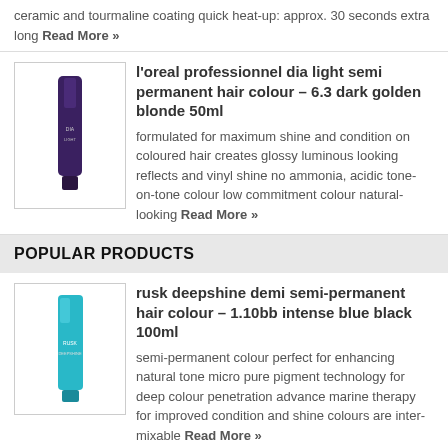ceramic and tourmaline coating quick heat-up: approx. 30 seconds extra long Read More »
[Figure (photo): L'Oreal Professionnel Dia Light hair colour product tube, dark purple/black packaging]
l'oreal professionnel dia light semi permanent hair colour – 6.3 dark golden blonde 50ml
formulated for maximum shine and condition on coloured hair creates glossy luminous looking reflects and vinyl shine no ammonia, acidic tone-on-tone colour low commitment colour natural-looking Read More »
POPULAR PRODUCTS
[Figure (photo): Rusk Deepshine Demi semi-permanent hair colour product, teal/blue packaging]
rusk deepshine demi semi-permanent hair colour – 1.10bb intense blue black 100ml
semi-permanent colour perfect for enhancing natural tone micro pure pigment technology for deep colour penetration advance marine therapy for improved condition and shine colours are inter-mixable Read More »